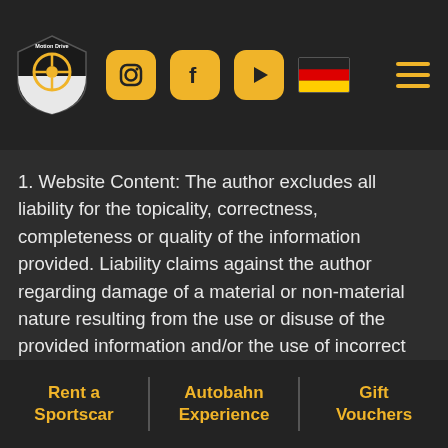[Figure (logo): Motion Drive logo - shield shape with car wheel icon, black and white]
[Figure (infographic): Navigation header with social media icons (Instagram, Facebook, YouTube, German flag) and hamburger menu in gold/yellow on dark background]
1. Website Content: The author excludes all liability for the topicality, correctness, completeness or quality of the information provided. Liability claims against the author regarding damage of a material or non-material nature resulting from the use or disuse of the provided information and/or the use of incorrect and incomplete information will therefore be rejected, provided that the author is not guilty of demonstrably willful or gross negligence. All offers are non-binding and without obligations. Parts of the pages or the complete publication including all offers and information might be
Rent a Sportscar | Autobahn Experience | Gift Vouchers